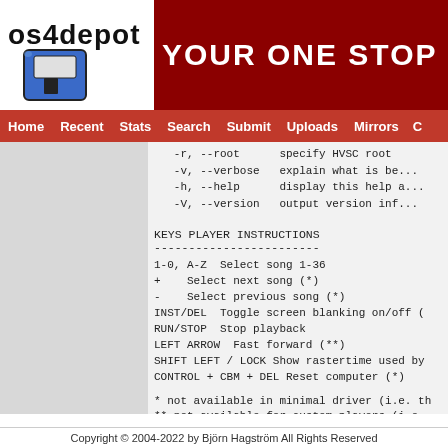[Figure (logo): OS4Depot logo with floppy disk icon and text]
[Figure (illustration): Red banner with white bold text: YOUR ONE STOP FOR OS4 FI...]
Home  Recent  Stats  Search  Submit  Uploads  Mirrors  C...
-r, --root   specify HVSC root
-v, --verbose   explain what is be...
-h, --help   display this help a...
-V, --version   output version inf...
KEYS PLAYER INSTRUCTIONS
------------------------
1-0, A-Z  Select song 1-36
+    Select next song (*)
-    Select previous song (*)
INST/DEL  Toggle screen blanking on/off (
RUN/STOP  Stop playback
LEFT ARROW  Fast forward (**)
SHIFT LEFT / LOCK Show rastertime used by
CONTROL + CBM + DEL Reset computer (*)
* not available in minimal driver (i.e. th
** not available for custom players (i.e.
Copyright © 2004-2022 by Björn Hagström All Rights Reserved